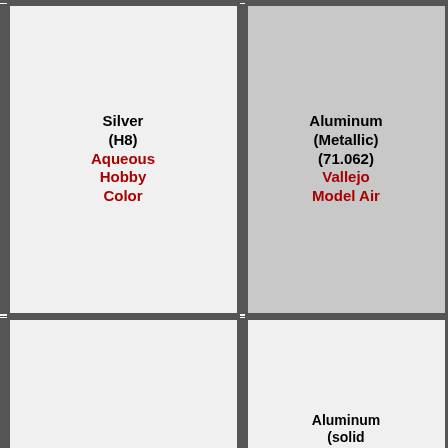| Silver (H8)
Aqueous Hobby Color | Aluminum (Metallic) (71.062)
Vallejo Model Air | Aluminium (HTK-_078)
Hataka | FS17178 Aluminium (X142)
Xtracolor | [cut off] |
|  | Aluminum (solid metallic) (36199)
Revell Aqua Color Acrylic | aluminum (solid metallic) (32199)
Revell Email Enamel | POLISHED METAL (A.MIG-0192)
Ammo Acrylics | [cut off] |
|  | Dark Steel (69.065)
Vallejo Mecha Color | Metallic gray (LP61)
Tamiya Lacquer Paint | SILVER (A.MIG-0195)
Ammo Acrylics | [cut off] |
|  |  |  |  |  |